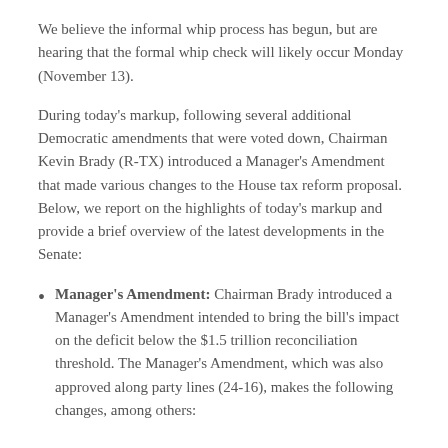We believe the informal whip process has begun, but are hearing that the formal whip check will likely occur Monday (November 13).
During today's markup, following several additional Democratic amendments that were voted down, Chairman Kevin Brady (R-TX) introduced a Manager's Amendment that made various changes to the House tax reform proposal. Below, we report on the highlights of today's markup and provide a brief overview of the latest developments in the Senate:
Manager's Amendment: Chairman Brady introduced a Manager's Amendment intended to bring the bill's impact on the deficit below the $1.5 trillion reconciliation threshold. The Manager's Amendment, which was also approved along party lines (24-16), makes the following changes, among others: